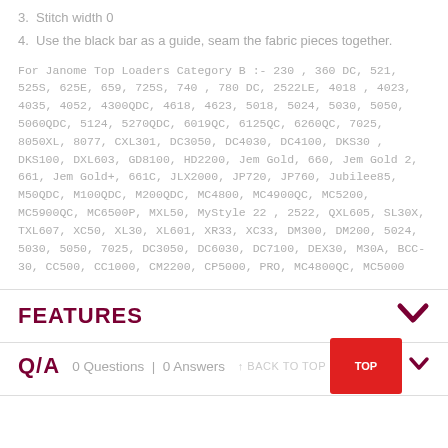3. Stitch width 0
4. Use the black bar as a guide, seam the fabric pieces together.
For Janome Top Loaders Category B :- 230 , 360 DC, 521, 525S, 625E, 659, 725S, 740 , 780 DC, 2522LE, 4018 , 4023, 4035, 4052, 4300QDC, 4618, 4623, 5018, 5024, 5030, 5050, 5060QDC, 5124, 5270QDC, 6019QC, 6125QC, 6260QC, 7025, 8050XL, 8077, CXL301, DC3050, DC4030, DC4100, DKS30 , DKS100, DXL603, GD8100, HD2200, Jem Gold, 660, Jem Gold 2, 661, Jem Gold+, 661C, JLX2000, JP720, JP760, Jubilee85, M50QDC, M100QDC, M200QDC, MC4800, MC4900QC, MC5200, MC5900QC, MC6500P, MXL50, MyStyle 22 , 2522, QXL605, SL30X, TXL607, XC50, XL30, XL601, XR33, XC33, DM300, DM200, 5024, 5030, 5050, 7025, DC3050, DC6030, DC7100, DEX30, M30A, BCC-30, CC500, CC1000, CM2200, CP5000, PRO, MC4800QC, MC5000
FEATURES
Q/A  0 Questions | 0 Answers